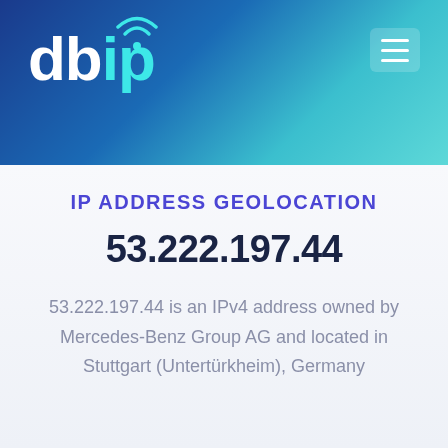[Figure (logo): db-ip.com logo with wifi signal icon above the letter i, white and cyan text on gradient blue background, with hamburger menu button top right]
IP ADDRESS GEOLOCATION
53.222.197.44
53.222.197.44 is an IPv4 address owned by Mercedes-Benz Group AG and located in Stuttgart (Untertürkheim), Germany